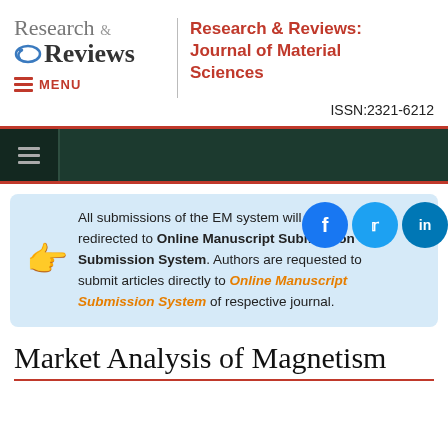[Figure (logo): Research & Reviews journal logo with circular arrow icon]
Research & Reviews: Journal of Material Sciences
ISSN:2321-6212
[Figure (screenshot): Dark green navigation bar with hamburger menu icon]
All submissions of the EM system will be redirected to Online Manuscript Submission System. Authors are requested to submit articles directly to Online Manuscript Submission System of respective journal.
Market Analysis of Magnetism